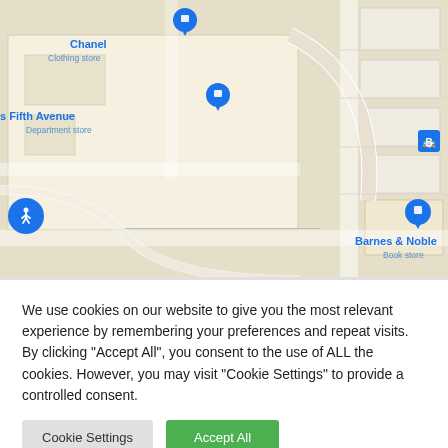[Figure (map): Google Maps screenshot showing a shopping area with Chanel (Clothing store), Saks Fifth Avenue (Department store), and Barnes & Noble (Book store) markers. Roads, blocks, and a bus stop icon are visible.]
We use cookies on our website to give you the most relevant experience by remembering your preferences and repeat visits. By clicking "Accept All", you consent to the use of ALL the cookies. However, you may visit "Cookie Settings" to provide a controlled consent.
Cookie Settings
Accept All